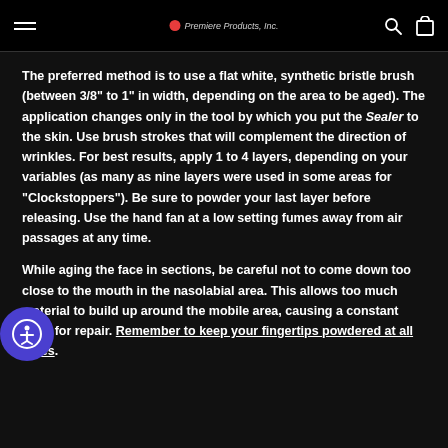Premiere Products, Inc.
The preferred method is to use a flat white, synthetic bristle brush (between 3/8" to 1" in width, depending on the area to be aged). The application changes only in the tool by which you put the Sealer to the skin. Use brush strokes that will complement the direction of wrinkles. For best results, apply 1 to 4 layers, depending on your variables (as many as nine layers were used in some areas for "Clockstoppers"). Be sure to powder your last layer before releasing. Use the hand fan at a low setting fumes away from air passages at any time.
While aging the face in sections, be careful not to come down too close to the mouth in the nasolabial area. This allows too much material to build up around the mobile area, causing a constant need for repair. Remember to keep your fingertips powdered at all times.